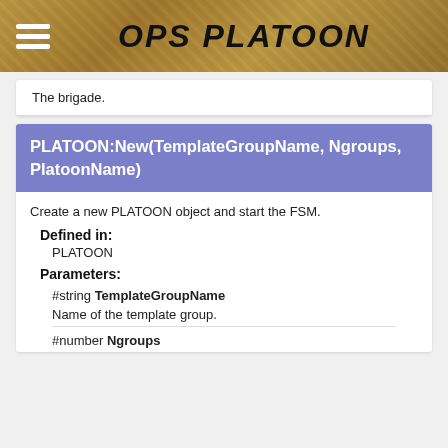OPS PLATOON
The brigade.
PLATOON:New(TemplateGroupName, Ngroups, PlatoonName)
Create a new PLATOON object and start the FSM.
Defined in:
PLATOON
Parameters:
#string TemplateGroupName
Name of the template group.
#number Ngroups